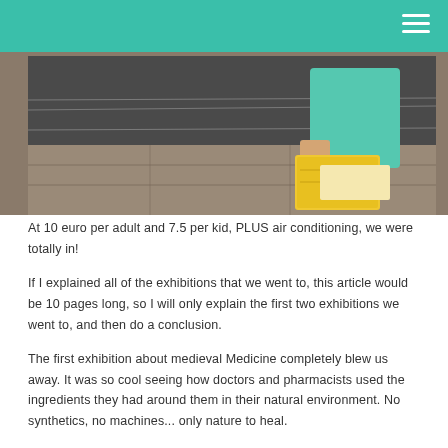[Figure (photo): A child in a teal/mint shirt holding a yellow book or pamphlet, standing on a tiled floor near a dark wall]
At 10 euro per adult and 7.5 per kid, PLUS air conditioning, we were totally in!
If I explained all of the exhibitions that we went to, this article would be 10 pages long, so I will only explain the first two exhibitions we went to, and then do a conclusion.
The first exhibition about medieval Medicine completely blew us away. It was so cool seeing how doctors and pharmacists used the ingredients they had around them in their natural environment. No synthetics, no machines... only nature to heal.